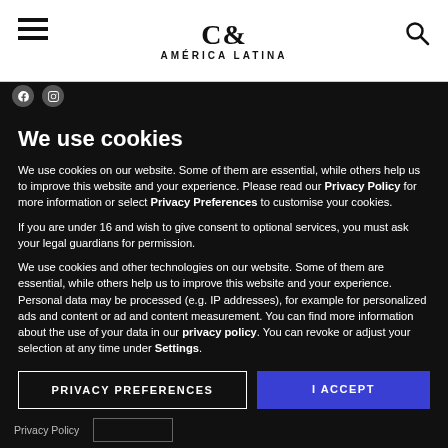C& AMÉRICA LATINA
We use cookies
We use cookies on our website. Some of them are essential, while others help us to improve this website and your experience. Please read our Privacy Policy for more information or select Privacy Preferences to customise your cookies.
If you are under 16 and wish to give consent to optional services, you must ask your legal guardians for permission.
We use cookies and other technologies on our website. Some of them are essential, while others help us to improve this website and your experience. Personal data may be processed (e.g. IP addresses), for example for personalized ads and content or ad and content measurement. You can find more information about the use of your data in our privacy policy. You can revoke or adjust your selection at any time under Settings.
PRIVACY PREFERENCES
I ACCEPT
Privacy Policy